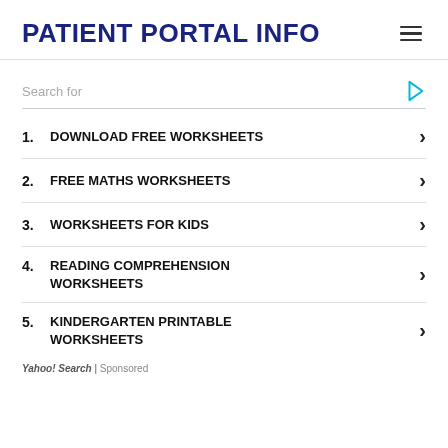PATIENT PORTAL INFO
Search for
1. DOWNLOAD FREE WORKSHEETS
2. FREE MATHS WORKSHEETS
3. WORKSHEETS FOR KIDS
4. READING COMPREHENSION WORKSHEETS
5. KINDERGARTEN PRINTABLE WORKSHEETS
Yahoo! Search | Sponsored